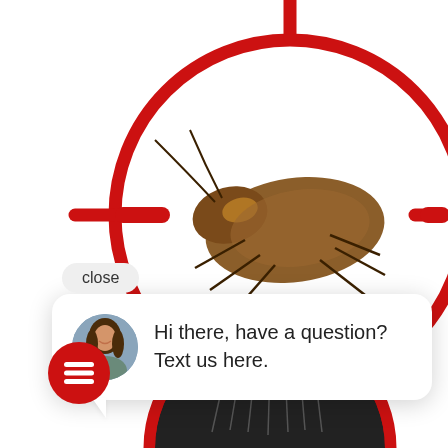[Figure (illustration): Red crosshair/target reticle with a cockroach in the center, shown on white background. The crosshair is a large circle with tick marks at top, left, and right. The cockroach is a brown American cockroach. A second partial crosshair and a dark circular image appear at the bottom of the page.]
close
[Figure (screenshot): Chat widget popup showing avatar of a woman and text: 'Hi there, have a question? Text us here.']
Hi there, have a question? Text us here.
[Figure (illustration): Red circular chat icon button with three horizontal lines (hamburger/chat icon) at bottom left.]